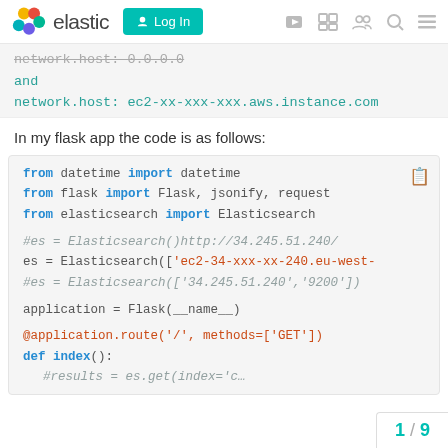[Figure (screenshot): Elastic community forum website header with logo, Log In button, and navigation icons]
network.host: 0.0.0.0
and
network.host: ec2-xx-xxx-xxx.aws.instance.com
In my flask app the code is as follows:
from datetime import datetime
from flask import Flask, jsonify, request
from elasticsearch import Elasticsearch

#es = Elasticsearch()http://34.245.51.240/
es = Elasticsearch(['ec2-34-xxx-xx-240.eu-west-
#es = Elasticsearch(['34.245.51.240','9200'])

application = Flask(__name__)

@application.route('/', methods=['GET'])
def index():
    #results = es.get(index='c…
1 / 9